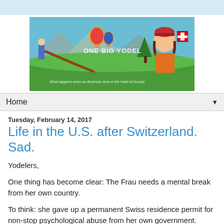[Figure (illustration): One Big Yodel blog header image: illustrated scene with man playing alphorn, hot air balloons, mountains, trees, and a person wearing a red beret and orange shirt holding a Swiss flag. Text reads 'ONE BIG YODEL' and 'What happens when an American lives in the heart of Europe.']
Home ▼
Tuesday, February 14, 2017
Life in the U.S. after Switzerland. Sad.
Yodelers,
One thing has become clear: The Frau needs a mental break from her own country.
To think: she gave up a permanent Swiss residence permit for non-stop psychological abuse from her own government.